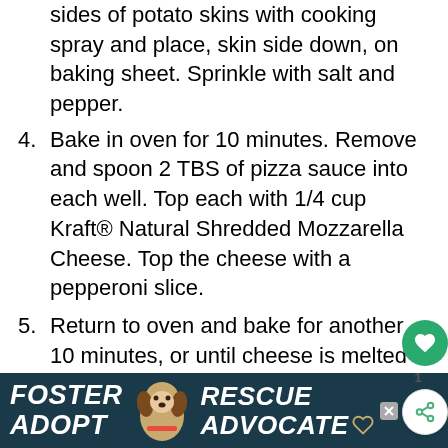sides of potato skins with cooking spray and place, skin side down, on baking sheet. Sprinkle with salt and pepper.
4. Bake in oven for 10 minutes. Remove and spoon 2 TBS of pizza sauce into each well. Top each with 1/4 cup Kraft® Natural Shredded Mozzarella Cheese. Top the cheese with a pepperoni slice.
5. Return to oven and bake for another 10 minutes, or until cheese is melted and bubbly. Garnish with parsley, if desired. Serve warm, with additional pizza sau...
[Figure (photo): Advertisement banner showing a beagle dog with text FOSTER ADOPT on left and RESCUE ADVOCATE on right, dark teal background, with a close X button and share/logo icons on the right.]